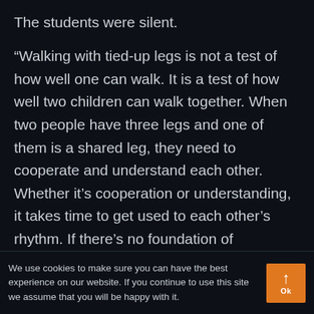The students were silent.
“Walking with tied-up legs is not a test of how well one can walk. It is a test of how well two children can walk together. When two people have three legs and one of them is a shared leg, they need to cooperate and understand each other. Whether it’s cooperation or understanding, it takes time to get used to each other’s rhythm. If there’s no foundation of
We use cookies to make sure you can have the best experience on our website. If you continue to use this site we assume that you will be happy with it.